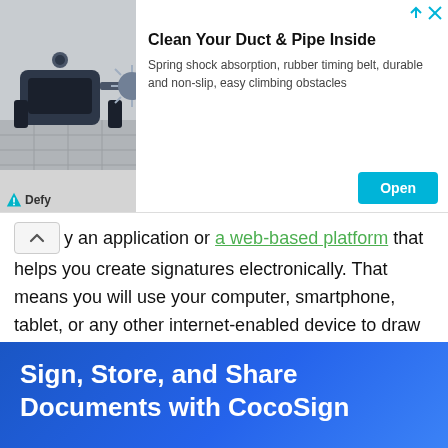[Figure (advertisement): Ad banner for Defy brand duct and pipe cleaning robot product. Shows a robot with brush attachment on a tiled floor. Title: 'Clean Your Duct & Pipe Inside'. Description: 'Spring shock absorption, rubber timing belt, durable and non-slip, easy climbing obstacles'. Has an 'Open' button and the Defy logo.]
y an application or a web-based platform that helps you create signatures electronically. That means you will use your computer, smartphone, tablet, or any other internet-enabled device to draw the signature.
Whatever you are anticipating, CocoSign will help you read it and use it on the essential documents. It's a web-based application that you can access anywhere at any time when that signature and delivery is almost due.
[Figure (other): Blue gradient banner with bold white text: 'Sign, Store, and Share Documents with CocoSign']